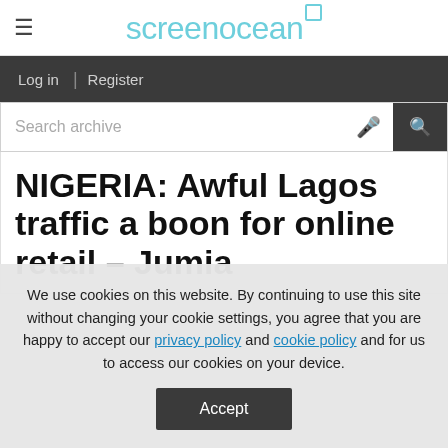screenocean
Log in  |  Register
Search archive
NIGERIA: Awful Lagos traffic a boon for online retail - Jumia
We use cookies on this website. By continuing to use this site without changing your cookie settings, you agree that you are happy to accept our privacy policy and cookie policy and for us to access our cookies on your device.
Accept